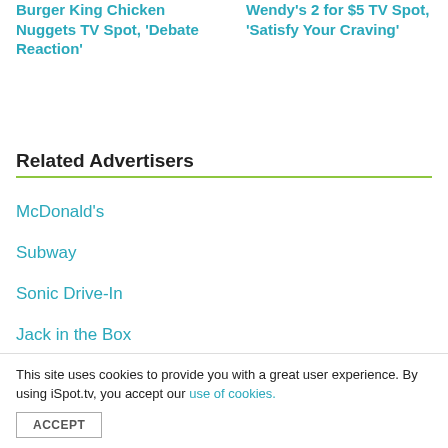Burger King Chicken Nuggets TV Spot, 'Debate Reaction'
Wendy's 2 for $5 TV Spot, 'Satisfy Your Craving'
Related Advertisers
McDonald's
Subway
Sonic Drive-In
Jack in the Box
Dunkin'
Related Products
This site uses cookies to provide you with a great user experience. By using iSpot.tv, you accept our use of cookies.
ACCEPT